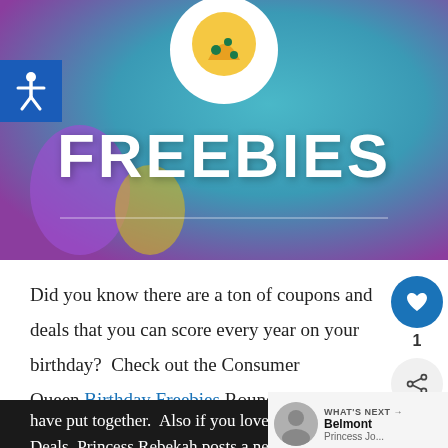[Figure (photo): Hero banner image with teal/purple gradient background, pizza logo in white circle at top center, large bold white text reading FREEBIES, and a thin white horizontal divider line beneath. Blue accessibility icon badge at upper left.]
Did you know there are a ton of coupons and deals that you can score every year on your birthday?  Check out the Consumer Queen Birthday Freebies Roundup that
have put together.  Also if you love Re... Deals, Princess Rebekah posts a new list every